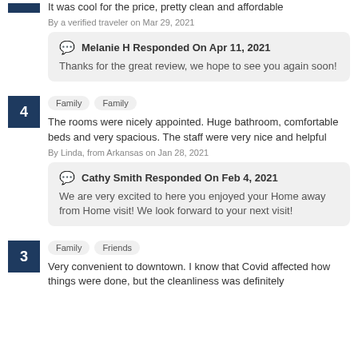It was cool for the price, pretty clean and affordable
By a verified traveler on Mar 29, 2021
Melanie H Responded On Apr 11, 2021
Thanks for the great review, we hope to see you again soon!
4
Family  Family
The rooms were nicely appointed. Huge bathroom, comfortable beds and very spacious. The staff were very nice and helpful
By Linda, from Arkansas on Jan 28, 2021
Cathy Smith Responded On Feb 4, 2021
We are very excited to here you enjoyed your Home away from Home visit! We look forward to your next visit!
3
Family  Friends
Very convenient to downtown. I know that Covid affected how things were done, but the cleanliness was definitely